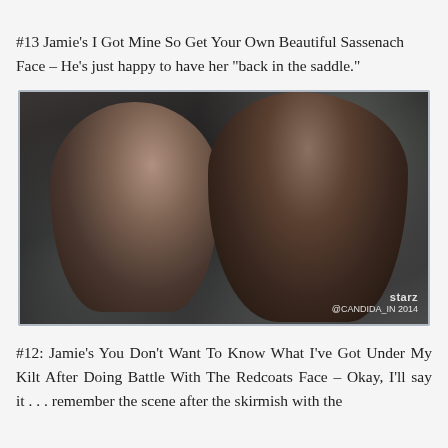#13 Jamie’s I Got Mine So Get Your Own Beautiful Sassenach Face – He’s just happy to have her “back in the saddle.”
[Figure (photo): A still from the TV show Outlander showing a woman with dark curly hair in front and a tall dark-haired man behind her, both looking into the distance. Bokeh background of soft green/grey light. Watermark reads 'starz @CANDIDA_IN 2014'.]
#12: Jamie’s You Don’t Want To Know What I’ve Got Under My Kilt After Doing Battle With The Redcoats Face – Okay, I’ll say it . . . remember the scene after the skirmish with the